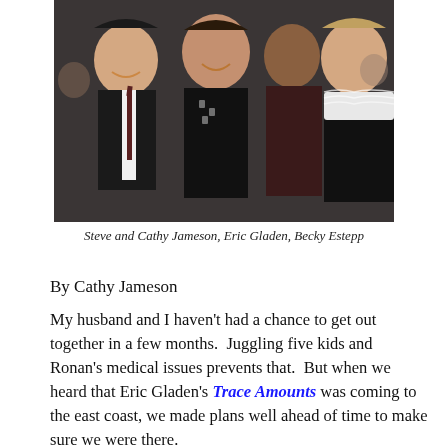[Figure (photo): Group photo of four smiling people at what appears to be an event: Steve and Cathy Jameson, Eric Gladen, Becky Estepp]
Steve and Cathy Jameson, Eric Gladen, Becky Estepp
By Cathy Jameson
My husband and I haven't had a chance to get out together in a few months.  Juggling five kids and Ronan's medical issues prevents that.  But when we heard that Eric Gladen's Trace Amounts was coming to the east coast, we made plans well ahead of time to make sure we were there.
I'm so glad we went.  It was more than just a